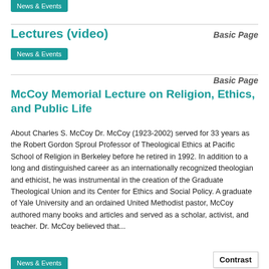News & Events
Lectures (video)
Basic Page
News & Events
Basic Page
McCoy Memorial Lecture on Religion, Ethics, and Public Life
About Charles S. McCoy Dr. McCoy (1923-2002) served for 33 years as the Robert Gordon Sproul Professor of Theological Ethics at Pacific School of Religion in Berkeley before he retired in 1992. In addition to a long and distinguished career as an internationally recognized theologian and ethicist, he was instrumental in the creation of the Graduate Theological Union and its Center for Ethics and Social Policy. A graduate of Yale University and an ordained United Methodist pastor, McCoy authored many books and articles and served as a scholar, activist, and teacher. Dr. McCoy believed that...
News & Events